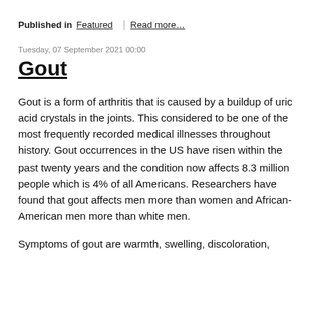Published in Featured | Read more…
Tuesday, 07 September 2021 00:00
Gout
Gout is a form of arthritis that is caused by a buildup of uric acid crystals in the joints. This considered to be one of the most frequently recorded medical illnesses throughout history. Gout occurrences in the US have risen within the past twenty years and the condition now affects 8.3 million people which is 4% of all Americans. Researchers have found that gout affects men more than women and African-American men more than white men.
Symptoms of gout are warmth, swelling, discoloration,